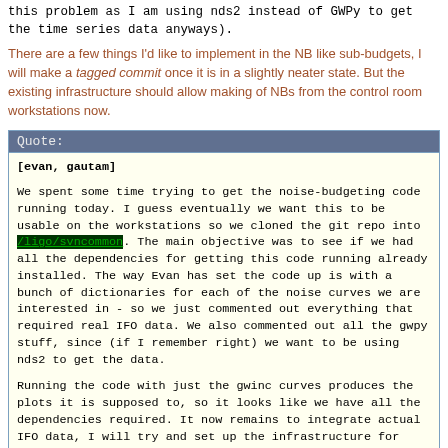this problem as I am using nds2 instead of GWPy to get the time series data anyways).
There are a few things I'd like to implement in the NB like sub-budgets, I will make a tagged commit once it is in a slightly neater state. But the existing infrastructure should allow making of NBs from the control room workstations now.
Quote:
[evan, gautam]

We spent some time trying to get the noise-budgeting code running today. I guess eventually we want this to be usable on the workstations so we cloned the git repo into /ligo/svncommon. The main objective was to see if we had all the dependencies for getting this code running already installed. The way Evan has set the code up is with a bunch of dictionaries for each of the noise curves we are interested in - so we just commented out everything that required real IFO data. We also commented out all the gwpy stuff, since (if I remember right) we want to be using nds2 to get the data.

Running the code with just the gwinc curves produces the plots it is supposed to, so it looks like we have all the dependencies required. It now remains to integrate actual IFO data, I will try and set up the infrastructure for this using the archived frame data from the 2016 DRFPMI locks..